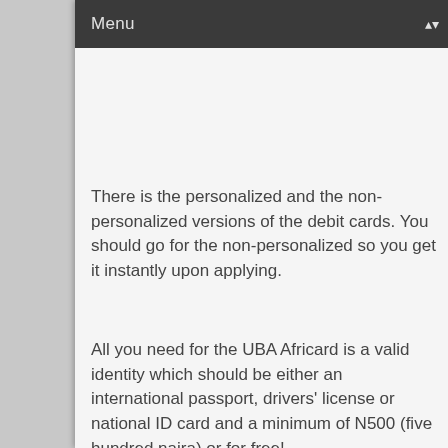Menu
There is the personalized and the non-personalized versions of the debit cards. You should go for the non-personalized so you get it instantly upon applying.
All you need for the UBA Africard is a valid identity which should be either an international passport, drivers' license or national ID card and a minimum of N500 (five hundred naira) or for free!